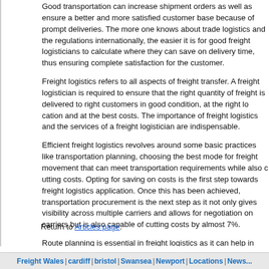Good transportation can increase shipment orders as well as ensure a better and more satisfied customer base because of prompt deliveries. The more one knows about trade logistics and the regulations internationally, the easier it is for good freight logisticians to calculate where they can save on delivery time, thus ensuring complete satisfaction for the customer.
Freight logistics refers to all aspects of freight transfer. A freight logistician is required to ensure that right quantity of freight is delivered to right customers in good condition, at the right location and at the best costs. The importance of freight logistics and the services of a freight logistician are indispensable.
Efficient freight logistics revolves around some basic practices like transportation planning, choosing the best mode for freight movement that can meet transportation requirements while also cutting costs. Opting for saving on costs is the first step towards freight logistics application. Once this has been achieved, transportation procurement is the next step as it not only gives visibility across multiple carriers but allows for negotiation on carriers but is also capable of cutting costs by almost 7%.
Route planning is essential in freight logistics as it can help in automating routes to often reduce costs and reduce routing costs if efficiently looked after. While transportation management improves shipment visibility while also improving customer services with prompt and timely deliveries, international trade regulations and knowledge of international trade logistics can cut down on freight and trade costs while reducing customs delays and eliminating fines associated with non-compliance.
Overall, effective application of freight logistics can help a company cut down on its freight costs by 15% and help provide customers with unmatchable services in terms of quality, time and cost. Not only will it result in asset turnover in the long run, help build a company's reputation and lead to higher customer satisfaction but will also help companies in creating loyal customers and growing simultaneously.
Return to Articles page.
Freight Wales | cardiff | bristol | Swansea | Newport | Locations| News...